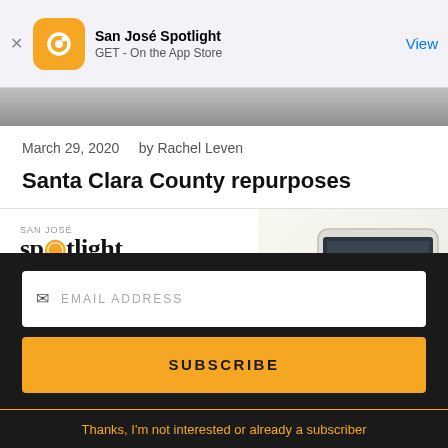[Figure (screenshot): App Store banner for San José Spotlight app with orange circular logo, app name, 'GET - On the App Store' subtitle, and blue 'View' button]
[Figure (photo): Partial hero image strip showing gray textured surface]
March 29, 2020    by Rachel Leven
Santa Clara County repurposes
[Figure (screenshot): San José Spotlight advertisement overlay showing logo, tagline 'Where San Jose locals start the day.' and sanjosespotlight.com URL with tablet/coffee image on the right, and a close X button]
EMAIL ADDRESS
SUBSCRIBE
Thanks, I'm not interested or already a subscriber